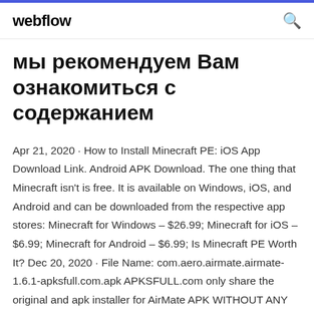webflow
мы рекомендуем Вам ознакомиться с содержанием
Apr 21, 2020 · How to Install Minecraft PE: iOS App Download Link. Android APK Download. The one thing that Minecraft isn't is free. It is available on Windows, iOS, and Android and can be downloaded from the respective app stores: Minecraft for Windows – $26.99; Minecraft for iOS – $6.99; Minecraft for Android – $6.99; Is Minecraft PE Worth It? Dec 20, 2020 · File Name: com.aero.airmate.airmate-1.6.1-apksfull.com.apk APKSFULL.com only share the original and apk installer for AirMate APK WITHOUT ANY cheat, crack, unlimited gold